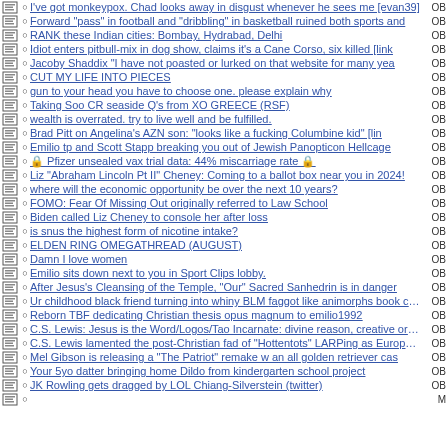I've got monkeypox. Chad looks away in disgust whenever he sees me [evan39]
Forward "pass" in football and "dribbling" in basketball ruined both sports and
RANK these Indian cities: Bombay, Hydrabad, Delhi
Idiot enters pitbull-mix in dog show, claims it's a Cane Corso, six killed [link
Jacoby Shaddix "I have not poasted or lurked on that website for many yea
CUT MY LIFE INTO PIECES
gun to your head you have to choose one. please explain why
Taking Soo CR seaside Q's from XO GREECE (RSF)
wealth is overrated. try to live well and be fulfilled.
Brad Pitt on Angelina's AZN son: "looks like a fucking Columbine kid" [lin
Emilio tp and Scott Stapp breaking you out of Jewish Panopticon Hellcage
🔒 Pfizer unsealed vax trial data: 44% miscarriage rate 🔒
Liz "Abraham Lincoln Pt II" Cheney: Coming to a ballot box near you in 2024!
where will the economic opportunity be over the next 10 years?
FOMO: Fear Of Missing Out originally referred to Law School
Biden called Liz Cheney to console her after loss
is snus the highest form of nicotine intake?
ELDEN RING OMEGATHREAD (AUGUST)
Damn I love women
Emilio sits down next to you in Sport Clips lobby.
After Jesus's Cleansing of the Temple, "Our" Sacred Sanhedrin is in danger
Ur childhood black friend turning into whiny BLM faggot like animorphs book cove
Reborn TBF dedicating Christian thesis opus magnum to emilio1992
C.S. Lewis: Jesus is the Word/Logos/Tao Incarnate: divine reason, creative order
C.S. Lewis lamented the post-Christian fad of "Hottentots" LARPing as Europeans
Mel Gibson is releasing a "The Patriot" remake w an all golden retriever cas
Your 5yo datter bringing home Dildo from kindergarten school project
JK Rowling gets dragged by LOL Chiang-Silverstein (twitter)
...